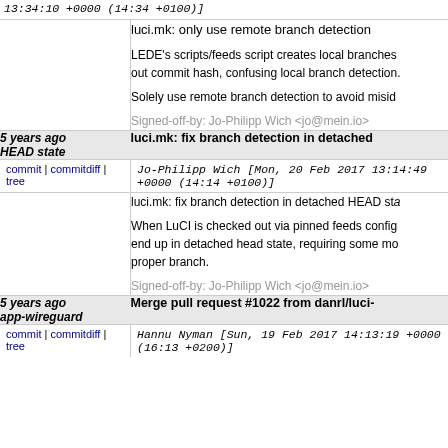13:34:10 +0000 (14:34 +0100)]
luci.mk: only use remote branch detection

LEDE's scripts/feeds script creates local branches without commit hash, confusing local branch detection.

Solely use remote branch detection to avoid misid

Signed-off-by: Jo-Philipp Wich <jo@mein.io>
5 years ago HEAD state
luci.mk: fix branch detection in detached HEAD state
commit | commitdiff | tree   Jo-Philipp Wich [Mon, 20 Feb 2017 13:14:49 +0000 (14:14 +0100)]
luci.mk: fix branch detection in detached HEAD sta

When LuCI is checked out via pinned feeds config end up in detached head state, requiring some mo proper branch.

Signed-off-by: Jo-Philipp Wich <jo@mein.io>
5 years ago
Merge pull request #1022 from danrl/luci-app-wireguard
commit | commitdiff | tree   Hannu Nyman [Sun, 19 Feb 2017 14:13:19 +0000 (16:13 +0200)]